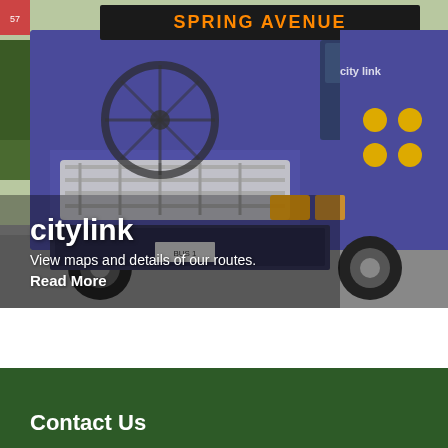[Figure (photo): A purple CityLink bus with a bicycle rack on the front, shown from a front-side angle in a parking lot with green trees in background. The bus destination sign shows 'SPRING AVENUE' in orange LEDs.]
citylink
View maps and details of our routes.
Read More
Contact Us